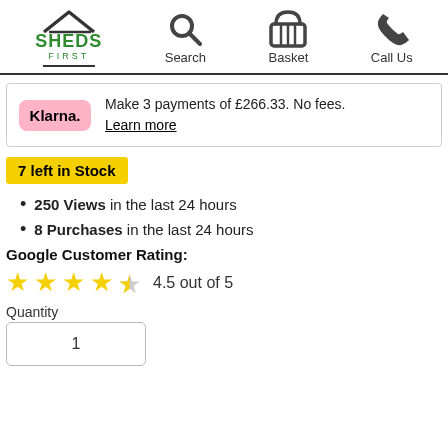Home | Search | Basket | Call Us
Make 3 payments of £266.33. No fees. Learn more
7 left in Stock
250 Views in the last 24 hours
8 Purchases in the last 24 hours
Google Customer Rating:
4.5 out of 5
Quantity
1